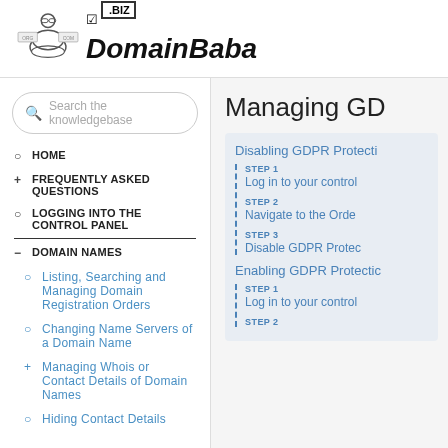[Figure (logo): DomainBaba logo with meditating figure and .BIZ badge]
Search the knowledgebase
HOME
FREQUENTLY ASKED QUESTIONS
LOGGING INTO THE CONTROL PANEL
DOMAIN NAMES
Listing, Searching and Managing Domain Registration Orders
Changing Name Servers of a Domain Name
Managing Whois or Contact Details of Domain Names
Hiding Contact Details
Managing GD
Disabling GDPR Protecti
STEP 1
Log in to your control
STEP 2
Navigate to the Orde
STEP 3
Disable GDPR Protec
Enabling GDPR Protectic
STEP 1
Log in to your control